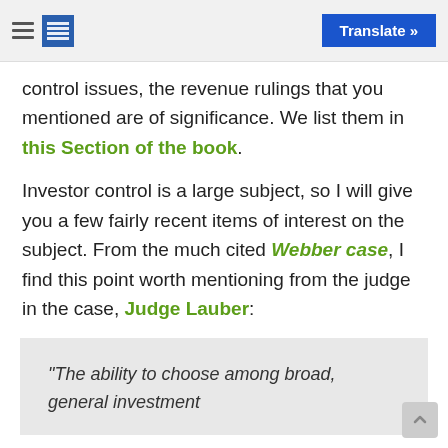Translate »
control issues, the revenue rulings that you mentioned are of significance. We list them in this Section of the book.
Investor control is a large subject, so I will give you a few fairly recent items of interest on the subject. From the much cited Webber case, I find this point worth mentioning from the judge in the case, Judge Lauber:
“The ability to choose among broad, general investment